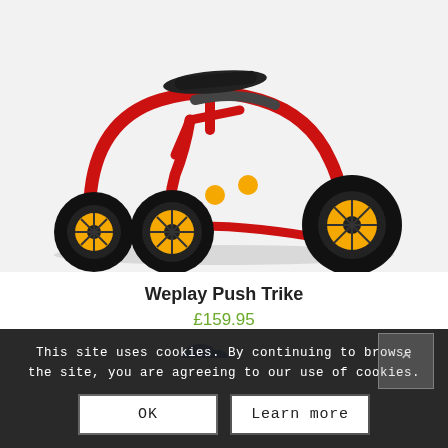[Figure (photo): A red children's push trike (tricycle) with black rubber tyres and yellow wheel hubs, photographed on a white background. The trike has a black seat and red tubular frame.]
Weplay Push Trike
£159.95
[Figure (photo): Partial view of another product below, showing a small blue object at the top of the next product card.]
This site uses cookies. By continuing to browse the site, you are agreeing to our use of cookies.
OK
Learn more